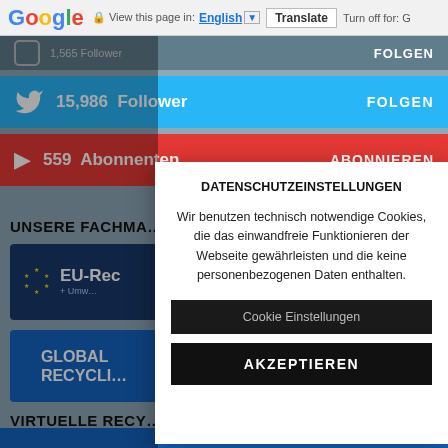Google  View this page in: English  Translate  Turn off for: G
[Figure (screenshot): Instagram follower bar showing partial count and FOLGEN button on grey background]
[Figure (screenshot): Twitter bar showing 15,986 Follower and FOLGEN button on light blue background]
[Figure (screenshot): YouTube bar showing 559 Abonnenten and ABONNIEREN button on red background]
UNSERE FACHMA…
[Figure (logo): EU-Rec + Umwelt logo on dark blue background with yellow stars]
[Figure (logo): GLOBAL RECYCLING logo on dark blue background]
VIRTUELLE RECY…
[Figure (screenshot): Cookie consent modal overlay with title DATENSCHUTZEINSTELLUNGEN, body text about technically necessary cookies, Cookie Einstellungen button, and AKZEPTIEREN button]